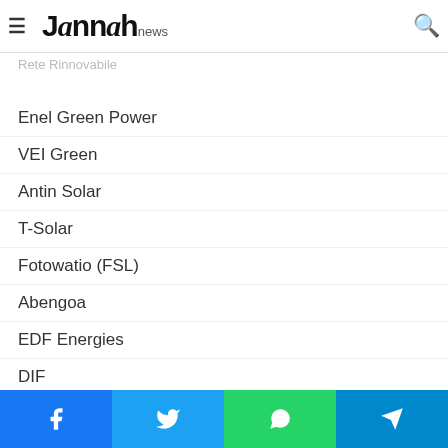Jannah news
Rete Rinnovabile
Enel Green Power
VEI Green
Antin Solar
T-Solar
Fotowatio (FSL)
Abengoa
EDF Energies
DIF
Solairedirect
Lightsource RE
Foresight Group
NRG Energy
BHE Renewables
Facebook Twitter WhatsApp Telegram